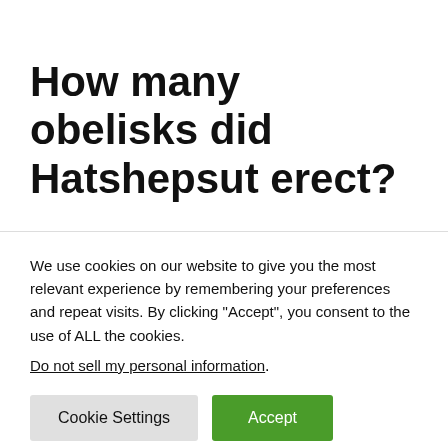How many obelisks did Hatshepsut erect?
We use cookies on our website to give you the most relevant experience by remembering your preferences and repeat visits. By clicking “Accept”, you consent to the use of ALL the cookies.
Do not sell my personal information.
Cookie Settings | Accept